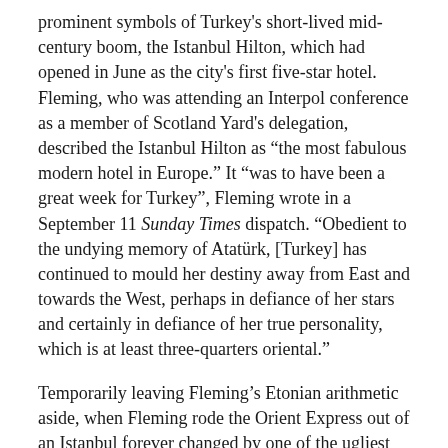prominent symbols of Turkey's short-lived mid-century boom, the Istanbul Hilton, which had opened in June as the city's first five-star hotel. Fleming, who was attending an Interpol conference as a member of Scotland Yard's delegation, described the Istanbul Hilton as "the most fabulous modern hotel in Europe." It "was to have been a great week for Turkey", Fleming wrote in a September 11 Sunday Times dispatch. "Obedient to the undying memory of Atatürk, [Turkey] has continued to mould her destiny away from East and towards the West, perhaps in defiance of her stars and certainly in defiance of her true personality, which is at least three-quarters oriental."
Temporarily leaving Fleming's Etonian arithmetic aside, when Fleming rode the Orient Express out of an Istanbul forever changed by one of the ugliest outbreaks of ethnic violence in modern Turkish history, he did so with the inspiration for his next novel and his own bigoted ideas about Turkey's "true personality." That Fleming's prejudices found their way into From Russia With Love, published less than two years later, is not surprising. As Bruce A. Rosenberg and Ann Harleman